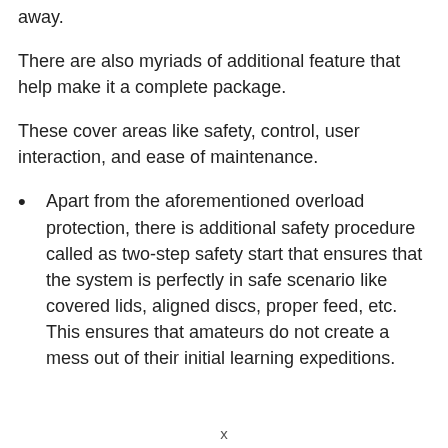away.
There are also myriads of additional feature that help make it a complete package.
These cover areas like safety, control, user interaction, and ease of maintenance.
Apart from the aforementioned overload protection, there is additional safety procedure called as two-step safety start that ensures that the system is perfectly in safe scenario like covered lids, aligned discs, proper feed, etc. This ensures that amateurs do not create a mess out of their initial learning expeditions.
x